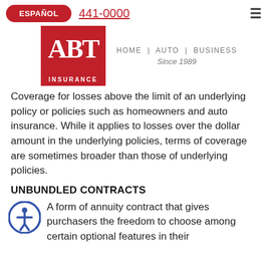ESPAÑOL  441-0000  ≡
[Figure (logo): ABT Insurance logo — red square with white ABT letters, red bar with white INSURANCE text, and tagline HOME | AUTO | BUSINESS Since 1989]
Coverage for losses above the limit of an underlying policy or policies such as homeowners and auto insurance. While it applies to losses over the dollar amount in the underlying policies, terms of coverage are sometimes broader than those of underlying policies.
UNBUNDLED CONTRACTS
A form of annuity contract that gives purchasers the freedom to choose among certain optional features in their contract.